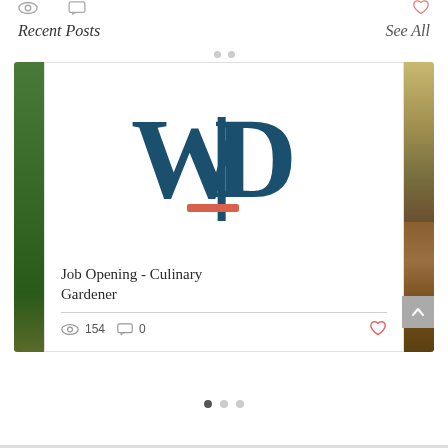Recent Posts
See All
[Figure (logo): WLD logo — large serif letters W, L, D in dark teal/navy with a coral/orange horizontal underline beneath the L]
Job Opening - Culinary Gardener
154 views, 0 comments, like button